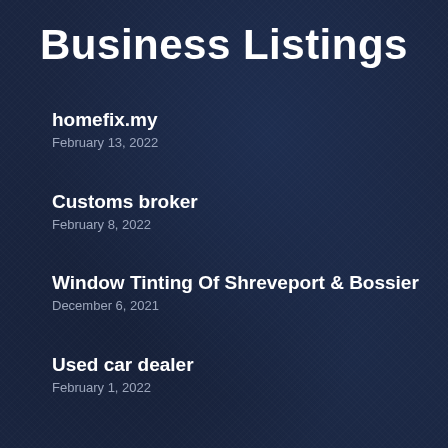Business Listings
homefix.my
February 13, 2022
Customs broker
February 8, 2022
Window Tinting Of Shreveport & Bossier
December 6, 2021
Used car dealer
February 1, 2022